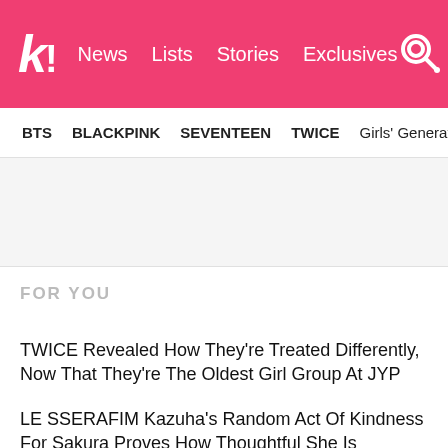Koreaboo — News  Lists  Stories  Exclusives
BTS   BLACKPINK   SEVENTEEN   TWICE   Girls' Generation
FOR YOU
TWICE Revealed How They're Treated Differently, Now That They're The Oldest Girl Group At JYP
LE SSERAFIM Kazuha's Random Act Of Kindness For Sakura Proves How Thoughtful She Is
BTS's V Saw His Famous Look-Alike, And His Reaction Was Funny AF
SEVENTEEN Wonwoo's Cover Of IU's "Knees" Is A Heartfelt Ode To His Mother
"Extraordinary Attorney Woo" Confirms Production Of